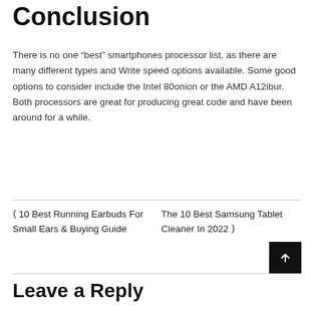Conclusion
There is no one “best” smartphones processor list, as there are many different types and Write speed options available. Some good options to consider include the Intel 80onion or the AMD A12ibur. Both processors are great for producing great code and have been around for a while.
‹ 10 Best Running Earbuds For Small Ears & Buying Guide
The 10 Best Samsung Tablet Cleaner In 2022 ›
Leave a Reply